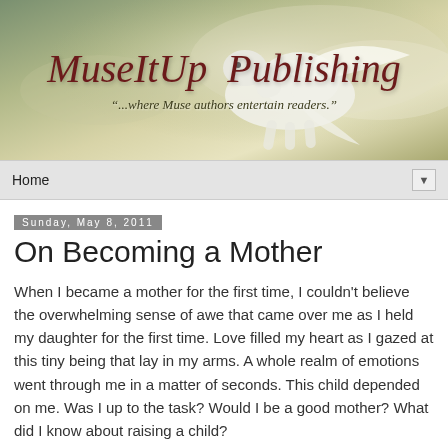[Figure (illustration): MuseItUp Publishing blog banner with a white Pegasus (winged horse) on a misty green-gold background. The banner title reads 'MuseItUp Publishing' in dark red italic serif font, with a subtitle '...where Muse authors entertain readers.' in smaller italic text.]
Home ▼
Sunday, May 8, 2011
On Becoming a Mother
When I became a mother for the first time, I couldn't believe the overwhelming sense of awe that came over me as I held my daughter for the first time. Love filled my heart as I gazed at this tiny being that lay in my arms. A whole realm of emotions went through me in a matter of seconds. This child depended on me. Was I up to the task? Would I be a good mother? What did I know about raising a child?